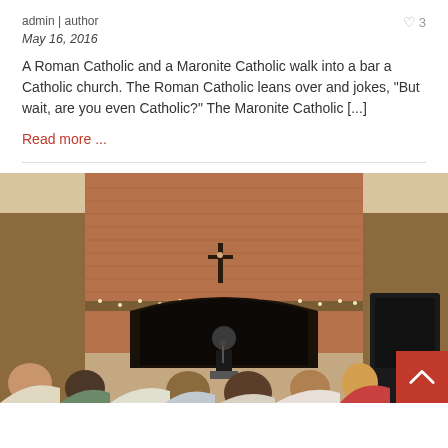admin | author
May 16, 2016
A Roman Catholic and a Maronite Catholic walk into a bar a Catholic church. The Roman Catholic leans over and jokes, “But wait, are you even Catholic?” The Maronite Catholic […]
Read more …
[Figure (photo): A person standing at a podium in front of a large brick fireplace with a crucifix above it and string lights along the mantle, speaking to a seated audience of young people in a hall.]